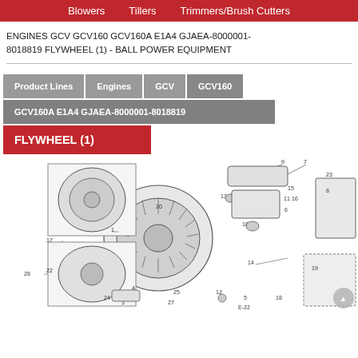Blowers   Tillers   Trimmers/Brush Cutters
ENGINES GCV GCV160 GCV160A E1A4 GJAEA-8000001-8018819 FLYWHEEL (1) - BALL POWER EQUIPMENT
Product Lines | Engines | GCV | GCV160
GCV160A E1A4 GJAEA-8000001-8018819
FLYWHEEL (1)
[Figure (engineering-diagram): Exploded parts diagram of Honda GCV160A E1A4 flywheel assembly showing numbered components including flywheel, stator, starter components, wiring harness, and related hardware with callout lines and part numbers 1-28]